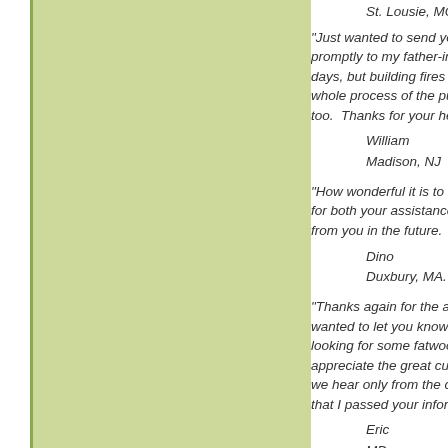St. Lousie, MO.
"Just wanted to send you a heartfelt thanks for the fatwood shipped promptly to my father-in-law in Baltimore. At 89 years old he has his good days, but building fires "properly" continues to be something he can do. The whole process of the purchase and it's coming and coming along well for him too. Thanks for your help and a great product.
William
Madison, NJ
"How wonderful it is to do business with someone like you. Thank you for both your assistance and your kind words. I look forward to hearing from you in the future. Until then, please accept
Dino
Duxbury, MA.
"Thanks again for the annual delivery of fatwood to my home. I also wanted to let you know that I sent your website's address to a friend who was looking for some fatwood . . . I hope it pans out, for both of you! I really appreciate the great customer service! I run a business myself and know that we hear only from the customers who are less than happy, so I wanted to tell you that I passed your information on to a friend bec
Eric
MD.
"Hi. Beyond the feedback I just left (eBay custo was top quality and that nice 30 lb. box made m
Becky G.